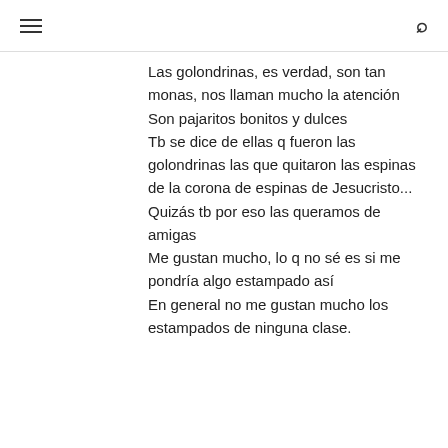≡  🔍
Las golondrinas, es verdad, son tan monas, nos llaman mucho la atención
Son pajaritos bonitos y dulces
Tb se dice de ellas q fueron las golondrinas las que quitaron las espinas de la corona de espinas de Jesucristo... Quizás tb por eso las queramos de amigas
Me gustan mucho, lo q no sé es si me pondría algo estampado así
En general no me gustan mucho los estampados de ninguna clase.